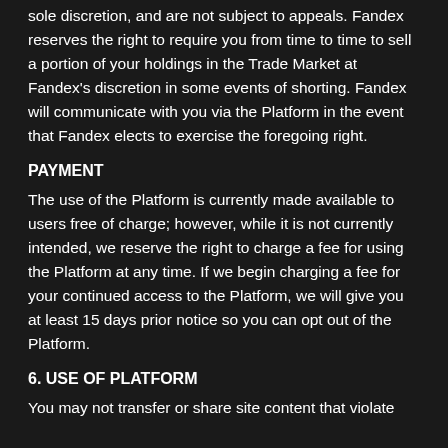sole discretion, and are not subject to appeals. Fandex reserves the right to require you from time to time to sell a portion of your holdings in the Trade Market at Fandex's discretion in some events of shorting. Fandex will communicate with you via the Platform in the event that Fandex elects to exercise the foregoing right.
PAYMENT
The use of the Platform is currently made available to users free of charge; however, while it is not currently intended, we reserve the right to charge a fee for using the Platform at any time. If we begin charging a fee for your continued access to the Platform, we will give you at least 15 days prior notice so you can opt out of the Platform.
6. USE OF PLATFORM
You may not transfer or share site content that violate…